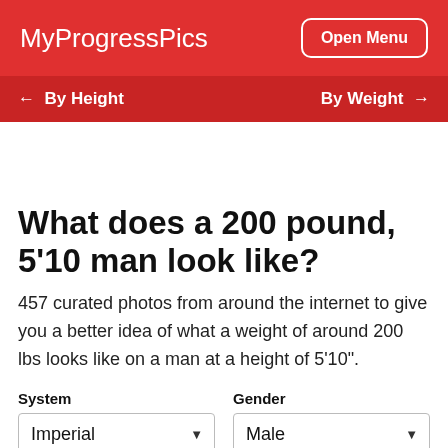MyProgressPics | Open Menu
← By Height | By Weight →
What does a 200 pound, 5'10 man look like?
457 curated photos from around the internet to give you a better idea of what a weight of around 200 lbs looks like on a man at a height of 5'10".
| System | Gender |
| --- | --- |
| Imperial | Male |